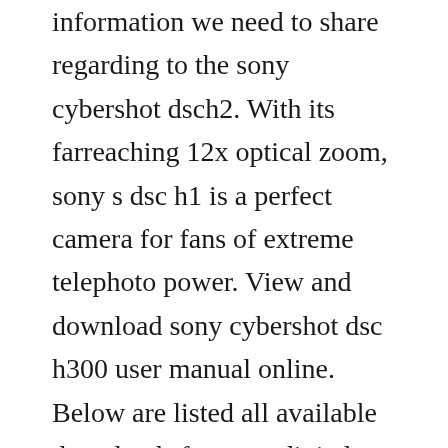information we need to share regarding to the sony cybershot dsch2. With its farreaching 12x optical zoom, sony s dsc h1 is a perfect camera for fans of extreme telephoto power. View and download sony cybershot dsc h300 user manual online. Below are listed all available downloads for sony digital camera cyber shot dsc h1. Featuring an amazing 12x optical zoom with optical image stabiliser, 5. Although slightly larger and heavier than its competitors, the h1. It is constructed of 11 elements in 9 groups with 1 ed glass element